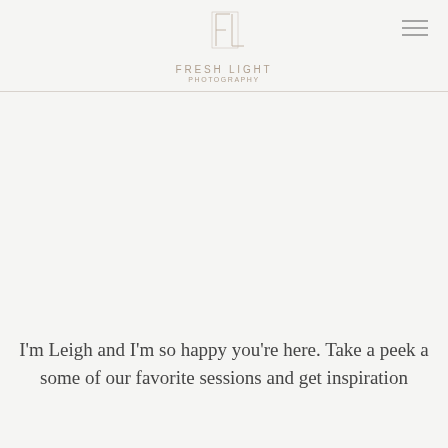FRESH LIGHT PHOTOGRAPHY
WELOME TO THE JOURNAL
I'm Leigh and I'm so happy you're here. Take a peek a some of our favorite sessions and get inspiration